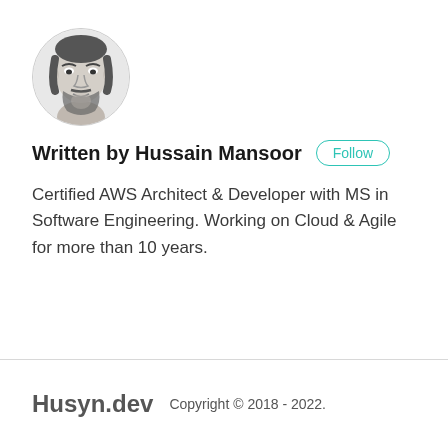[Figure (photo): Circular avatar portrait of Hussain Mansoor, a illustrated/sketch-style drawing of a bearded man]
Written by Hussain Mansoor
Certified AWS Architect & Developer with MS in Software Engineering. Working on Cloud & Agile for more than 10 years.
Husyn.dev  Copyright © 2018 - 2022.